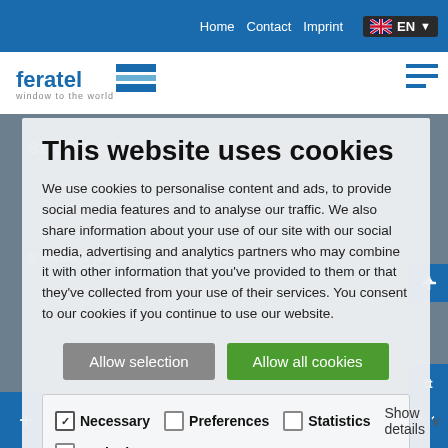Home   Contact   Imprint   EN
[Figure (logo): Feratel logo with tagline 'window to the world']
This website uses cookies
We use cookies to personalise content and ads, to provide social media features and to analyse our traffic. We also share information about your use of our site with our social media, advertising and analytics partners who may combine it with other information that you've provided to them or that they've collected from your use of their services. You consent to our cookies if you continue to use our website.
Allow selection   Allow all cookies
Necessary   Preferences   Statistics   Marketing   Show details